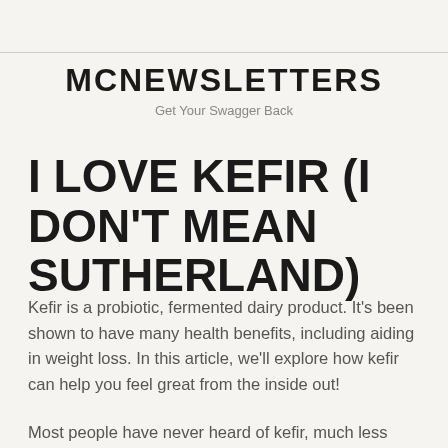MCNEWSLETTERS
Get Your Swagger Back
I LOVE KEFIR (I DON'T MEAN SUTHERLAND)
Kefir is a probiotic, fermented dairy product. It's been shown to have many health benefits, including aiding in weight loss. In this article, we'll explore how kefir can help you feel great from the inside out!
Most people have never heard of kefir, much less